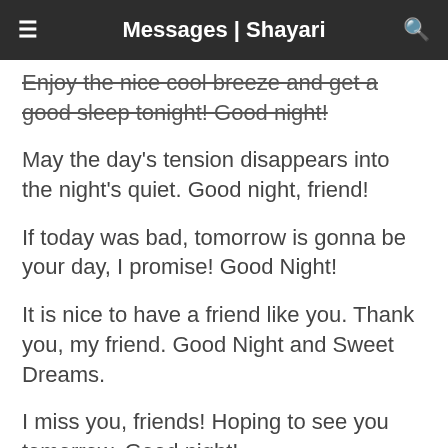Messages | Shayari
Enjoy the nice cool breeze and get a good sleep tonight! Good night!
May the day's tension disappears into the night's quiet. Good night, friend!
If today was bad, tomorrow is gonna be your day, I promise! Good Night!
It is nice to have a friend like you. Thank you, my friend. Good Night and Sweet Dreams.
I miss you, friends! Hoping to see you tomorrow. Good night!
May your dreams be full of wonderful